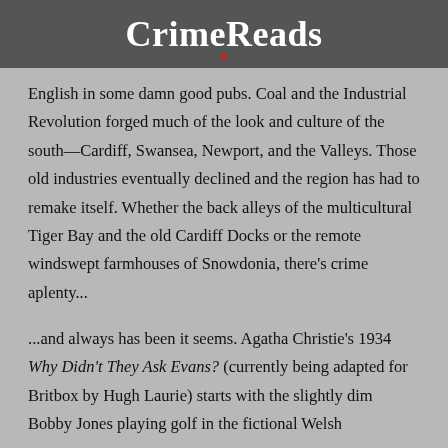CrimeReads
English in some damn good pubs. Coal and the Industrial Revolution forged much of the look and culture of the south—Cardiff, Swansea, Newport, and the Valleys. Those old industries eventually declined and the region has had to remake itself. Whether the back alleys of the multicultural Tiger Bay and the old Cardiff Docks or the remote windswept farmhouses of Snowdonia, there's crime aplenty...
...and always has been it seems. Agatha Christie's 1934 Why Didn't They Ask Evans? (currently being adapted for Britbox by Hugh Laurie) starts with the slightly dim Bobby Jones playing golf in the fictional Welsh